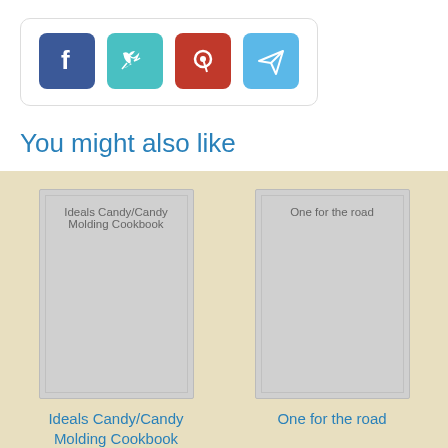[Figure (infographic): Social media sharing icons: Facebook (blue), Twitter (teal), Pinterest (red), Email/Send (light blue) in rounded square buttons inside a rounded border box]
You might also like
[Figure (other): Book cover placeholder for 'Ideals Candy/Candy Molding Cookbook' - gray rectangle with inner border and title text]
[Figure (other): Book cover placeholder for 'One for the road' - gray rectangle with inner border and title text]
Ideals Candy/Candy Molding Cookbook
One for the road